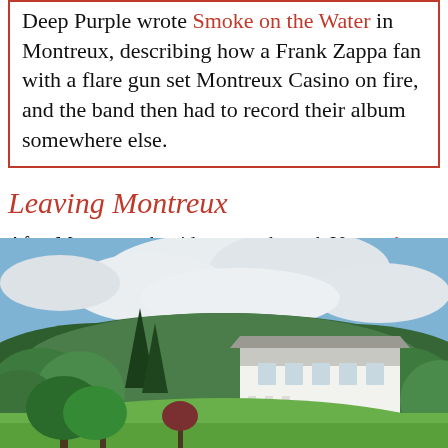Deep Purple wrote Smoke on the Water in Montreux, describing how a Frank Zappa fan with a flare gun set Montreux Casino on fire, and the band then had to record their album somewhere else.
Leaving Montreux
After Montreux, the riders pass through Vevey, the original headquarters of Nestlé.
[Figure (photo): Outdoor photograph of a large white neoclassical villa or manor house surrounded by lush green lawns and mature trees, with forested hills in the background and a partly cloudy sky above.]